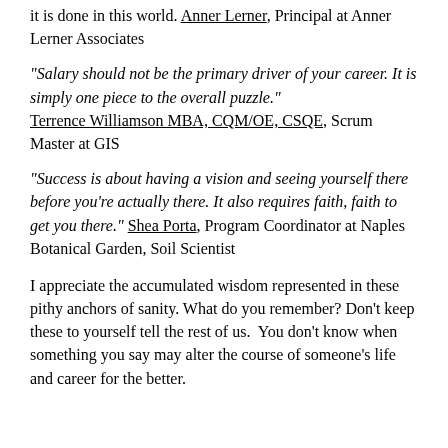it is done in this world. Anner Lerner, Principal at Anner Lerner Associates
“Salary should not be the primary driver of your career. It is simply one piece to the overall puzzle.” Terrence Williamson MBA, CQM/OE, CSQE, Scrum Master at GIS
“Success is about having a vision and seeing yourself there before you’re actually there. It also requires faith, faith to get you there.” Shea Porta, Program Coordinator at Naples Botanical Garden, Soil Scientist
I appreciate the accumulated wisdom represented in these pithy anchors of sanity. What do you remember? Don’t keep these to yourself tell the rest of us.  You don’t know when something you say may alter the course of someone’s life and career for the better.